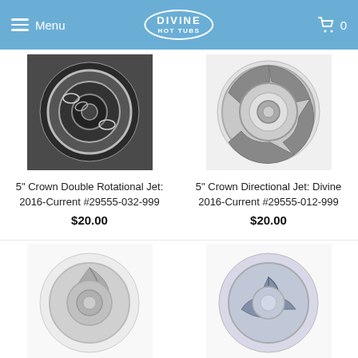Menu | DIVINE HOT TUBS | 0
[Figure (photo): 5 inch Crown Double Rotational Jet product photo - round chrome jet face on dark background]
5" Crown Double Rotational Jet: 2016-Current #29555-032-999
$20.00
[Figure (photo): 5 inch Crown Directional Jet product photo - round chrome jet face with directional openings on white background]
5" Crown Directional Jet: Divine 2016-Current #29555-012-999
$20.00
[Figure (photo): Small chrome rotational jet on white background - bottom left product]
[Figure (photo): Round chrome directional jet with three-blade design on white background - bottom right product]